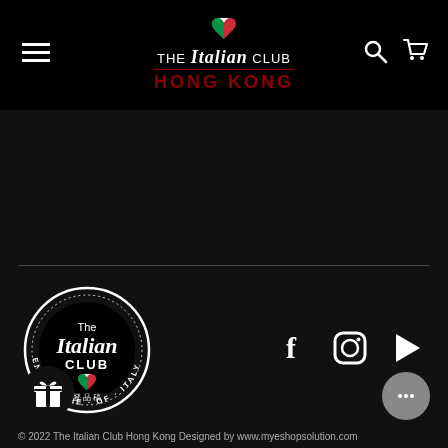[Figure (logo): The Italian Club Hong Kong navigation header with logo, hamburger menu, search and cart icons]
[Figure (logo): The Italian Club circular badge logo with text ENJOY THE BEST OF ITALY and Italian flag]
[Figure (infographic): Social media icons: Facebook, Instagram, YouTube]
Powered by Shopify
[Figure (infographic): Payment method icons: AMEX, Apple Pay, Google Pay, JCB, Mastercard, PayPal, OPay, VISA]
© 2022 The Italian Club Hong Kong Designed by www.myeshopsolution.com